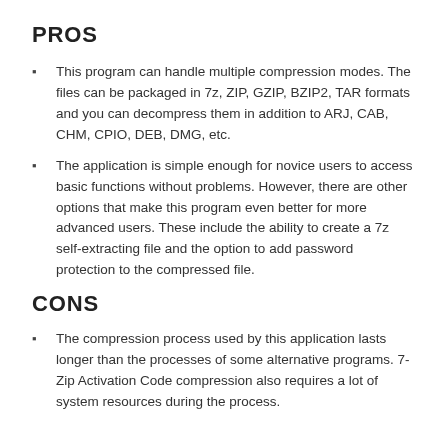PROS
This program can handle multiple compression modes. The files can be packaged in 7z, ZIP, GZIP, BZIP2, TAR formats and you can decompress them in addition to ARJ, CAB, CHM, CPIO, DEB, DMG, etc.
The application is simple enough for novice users to access basic functions without problems. However, there are other options that make this program even better for more advanced users. These include the ability to create a 7z self-extracting file and the option to add password protection to the compressed file.
CONS
The compression process used by this application lasts longer than the processes of some alternative programs. 7-Zip Activation Code compression also requires a lot of system resources during the process.